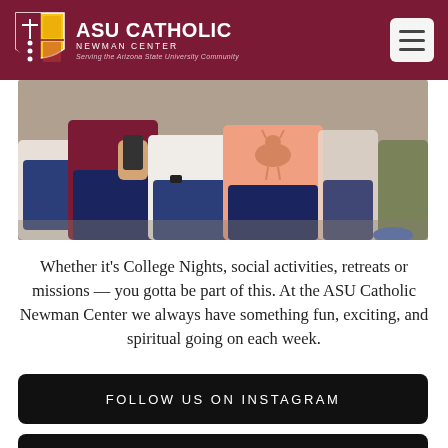ASU Catholic Newman Center — Serving the Arizona State University Community
[Figure (photo): Close-up photo of students sitting together outdoors, showing their laps and hands; one student wearing a salmon-colored shirt with a deer print, others in navy and white; one person holding a phone.]
Whether it's College Nights, social activities, retreats or missions — you gotta be part of this. At the ASU Catholic Newman Center we always have something fun, exciting, and spiritual going on each week.
FOLLOW US ON INSTAGRAM
WHAT'S GOING ON